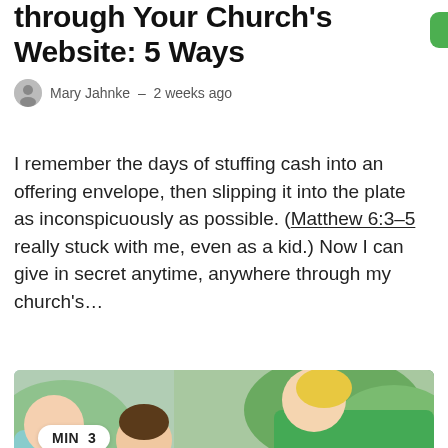through Your Church's Website: 5 Ways
Mary Jahnke – 2 weeks ago
I remember the days of stuffing cash into an offering envelope, then slipping it into the plate as inconspicuously as possible. (Matthew 6:3–5 really stuck with me, even as a kid.) Now I can give in secret anytime, anywhere through my church's…
[Figure (photo): Photo of people serving food outdoors at a community event. A woman in a green shirt is handing a container to someone. Others are holding plates with salad. MIN 3 badge overlaid on bottom-left area of photo.]